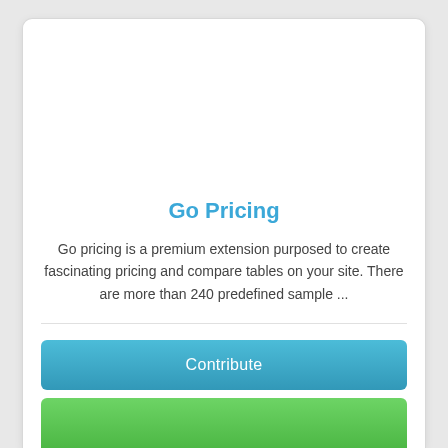Go Pricing
Go pricing is a premium extension purposed to create fascinating pricing and compare tables on your site. There are more than 240 predefined sample ...
Contribute